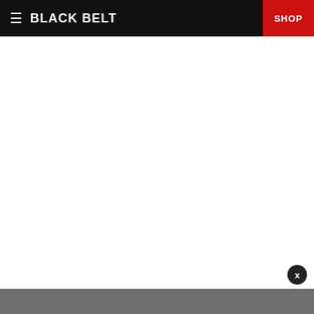BLACK BELT | SHOP
Check out our school finder to find a school near you and get started today!
SEARCH SCHOOL